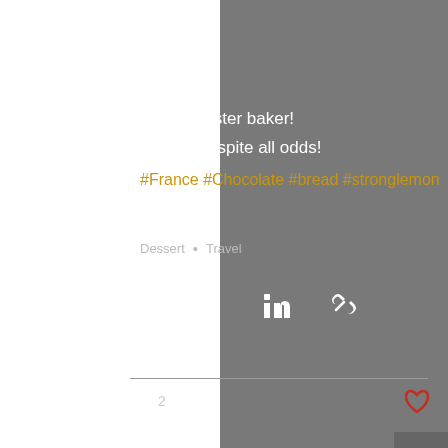Feeling
Sore Feet
Like a master baker!
Health, despite all odds!
#France #Chocolate #bread #stronglemon
Dessert • Travel
[Figure (screenshot): Social share icons: Facebook, Twitter, LinkedIn, link]
[Figure (screenshot): Views count: 2, comment icon, heart/like icon]
Recent Posts
See All
[Figure (photo): Photo strip showing partial brownish texture on left, a couple smiling in center with dark ceiling lights, red partial image on right]